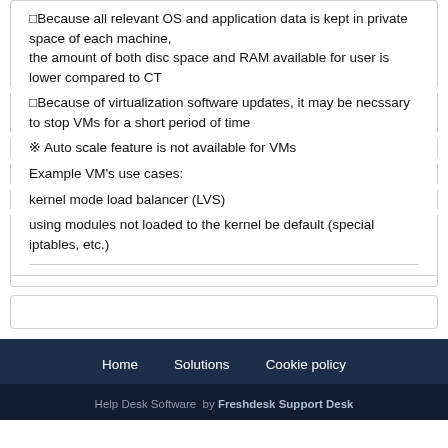◻Because all relevant OS and application data is kept in private space of each machine, the amount of both disc space and RAM available for user is lower compared to CT
◻Because of virtualization software updates, it may be necssary to stop VMs for a short period of time
※ Auto scale feature is not available for VMs
Example VM's use cases:
kernel mode load balancer (LVS)
using modules not loaded to the kernel be default (special iptables, etc.)
Home   Solutions   Cookie policy
Help Desk Software  by Freshdesk Support Desk